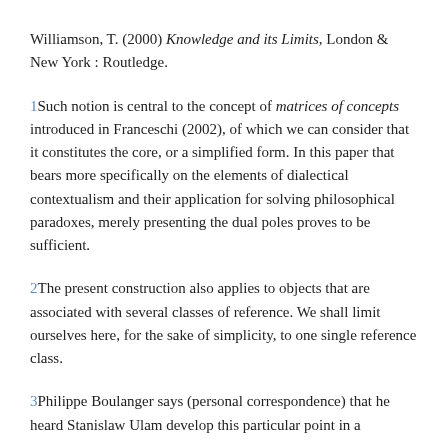Williamson, T. (2000) Knowledge and its Limits, London & New York : Routledge.
1Such notion is central to the concept of matrices of concepts introduced in Franceschi (2002), of which we can consider that it constitutes the core, or a simplified form. In this paper that bears more specifically on the elements of dialectical contextualism and their application for solving philosophical paradoxes, merely presenting the dual poles proves to be sufficient.
2The present construction also applies to objects that are associated with several classes of reference. We shall limit ourselves here, for the sake of simplicity, to one single reference class.
3Philippe Boulanger says (personal correspondence) that he heard Stanislaw Ulam develop this particular point in a